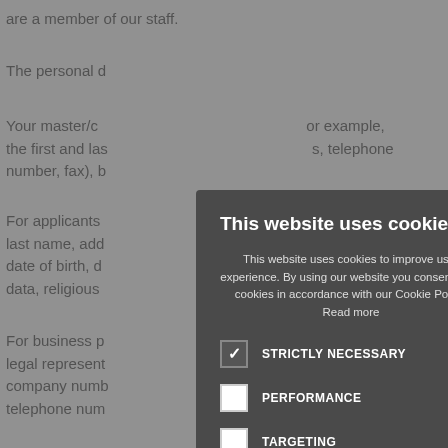are a member of our staff.
The personal d
Your master/c  or example, the first and las  s, telephone number, fax), b
For applicants  he first and last name, add  number, fax), date of birth, d  ences, bank data, religious
For business p  nation of their legal represent  AT number, company numb  mail address, telephone num
For visitors to  ignature.
For journalists this includes their first and last name, email address, fax
[Figure (screenshot): Cookie consent modal overlay with title 'This website uses cookies', descriptive text about cookie policy, and five cookie category checkboxes: STRICTLY NECESSARY (checked), PERFORMANCE (unchecked), TARGETING (unchecked), FUNCTIONALITY (unchecked), UNCLASSIFIED (unchecked).]
This website uses cookies
This website uses cookies to improve user experience. By using our website you consent to all cookies in accordance with our Cookie Policy. Read more
STRICTLY NECESSARY
PERFORMANCE
TARGETING
FUNCTIONALITY
UNCLASSIFIED